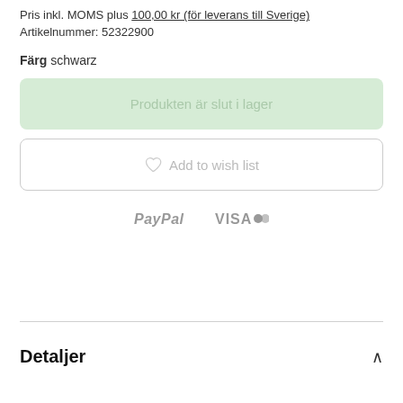Pris inkl. MOMS plus 100,00 kr (för leverans till Sverige)
Artikelnummer: 52322900
Färg schwarz
Produkten är slut i lager
♡ Add to wish list
[Figure (logo): PayPal and VISA payment method logos displayed side by side in grey]
Detaljer